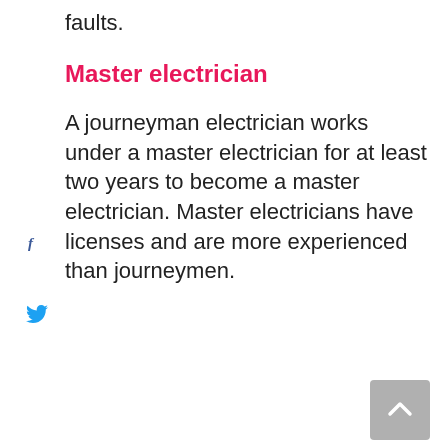faults.
Master electrician
A journeyman electrician works under a master electrician for at least two years to become a master electrician. Master electricians have licenses and are more experienced than journeymen.
They can work unsupervised, pull permits, and also guide other electricians. Master electricians train apprentices and also receive higher pay than journeymen.
Electrical contractor
An electrical contractor is a person or firm